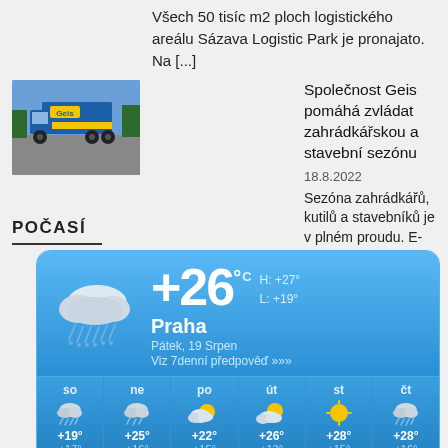Všech 50 tisíc m2 ploch logistického areálu Sázava Logistic Park je pronajato. Na [...]
[Figure (photo): Photo of Geis truck/logistics]
Společnost Geis pomáhá zvládat zahrádkářskou a stavební sezónu
18.8.2022
Sezóna zahrádkářů, kutilů a stavebníků je v plném proudu. E-shop prodejen Hornbach běžně [...]
POČASÍ
[Figure (infographic): Weather widget showing Praha weather: +26°C, H:+27° L:+19°, Pátek 19 Srpen. Forecast: so +19/+17, ne +25/+16, po +22/+15, út +26/+13, st +28/+15, čt +28/+16]